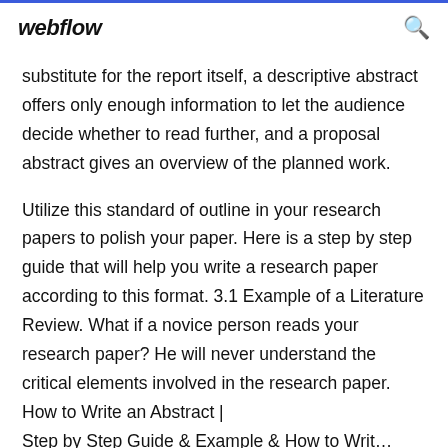webflow
substitute for the report itself, a descriptive abstract offers only enough information to let the audience decide whether to read further, and a proposal abstract gives an overview of the planned work.
Utilize this standard of outline in your research papers to polish your paper. Here is a step by step guide that will help you write a research paper according to this format. 3.1 Example of a Literature Review. What if a novice person reads your research paper? He will never understand the critical elements involved in the research paper. How to Write an Abstract | Step by Step Guide & Example & How to Writ…